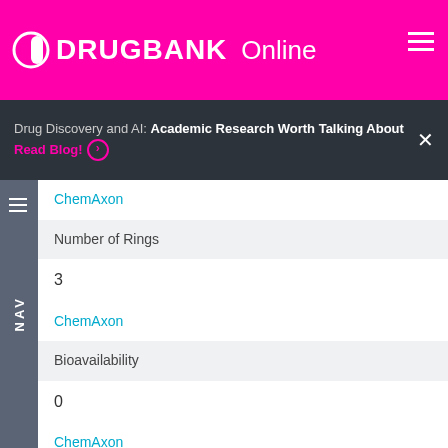DrugBank Online
Drug Discovery and AI: Academic Research Worth Talking About
Read Blog!
ChemAxon
Number of Rings
3
ChemAxon
Bioavailability
0
ChemAxon
Rule of Five
No
ChemAxon
Ghose Filter